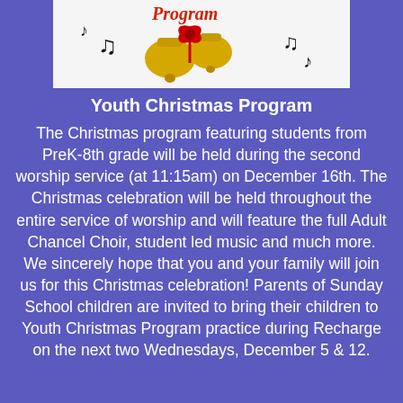[Figure (illustration): Youth Christmas Program decorative image with bells, music notes, and holiday decorations on white background]
Youth Christmas Program
The Christmas program featuring students from PreK-8th grade will be held during the second worship service (at 11:15am) on December 16th. The Christmas celebration will be held throughout the entire service of worship and will feature the full Adult Chancel Choir, student led music and much more. We sincerely hope that you and your family will join us for this Christmas celebration! Parents of Sunday School children are invited to bring their children to Youth Christmas Program practice during Recharge on the next two Wednesdays, December 5 & 12.